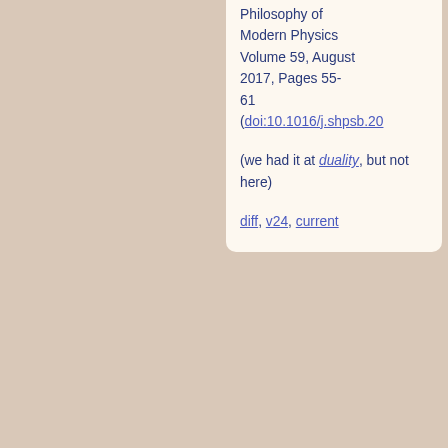Philosophy of Modern Physics Volume 59, August 2017, Pages 55-61 (doi:10.1016/j.shpsb.20...
(we had it at duality, but not here)
diff, v24, current
68. David_Corfield Jan 2nd 2020 PermaLink
Added a quotation from lectures by Vafa
Since we have seen that the full